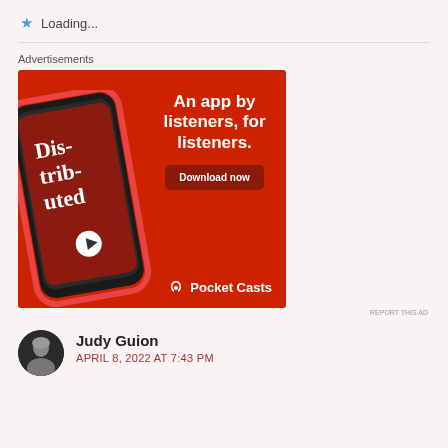Loading...
Advertisements
[Figure (illustration): Pocket Casts advertisement banner with red background showing a smartphone with podcast app interface displaying 'Distributed' podcast. Text reads: 'An app by listeners, for listeners.' with a 'Download now' button and Pocket Casts logo at the bottom.]
REPORT THIS AD
Judy Guion
APRIL 8, 2022 AT 7:43 PM